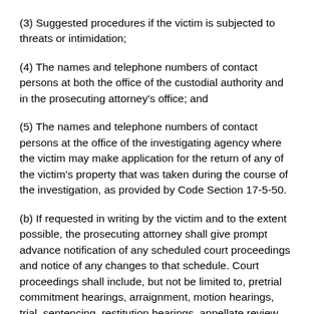(3) Suggested procedures if the victim is subjected to threats or intimidation;
(4) The names and telephone numbers of contact persons at both the office of the custodial authority and in the prosecuting attorney's office; and
(5) The names and telephone numbers of contact persons at the office of the investigating agency where the victim may make application for the return of any of the victim's property that was taken during the course of the investigation, as provided by Code Section 17-5-50.
(b) If requested in writing by the victim and to the extent possible, the prosecuting attorney shall give prompt advance notification of any scheduled court proceedings and notice of any changes to that schedule. Court proceedings shall include, but not be limited to, pretrial commitment hearings, arraignment, motion hearings, trial, sentencing, restitution hearings, appellate review, and